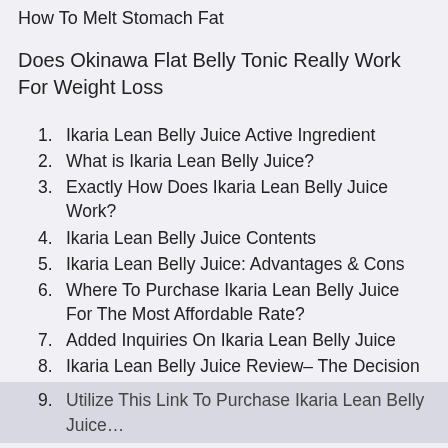How To Melt Stomach Fat
Does Okinawa Flat Belly Tonic Really Work For Weight Loss
1. Ikaria Lean Belly Juice Active Ingredient
2. What is Ikaria Lean Belly Juice?
3. Exactly How Does Ikaria Lean Belly Juice Work?
4. Ikaria Lean Belly Juice Contents
5. Ikaria Lean Belly Juice: Advantages & Cons
6. Where To Purchase Ikaria Lean Belly Juice For The Most Affordable Rate?
7. Added Inquiries On Ikaria Lean Belly Juice
8. Ikaria Lean Belly Juice Review– The Decision
9. Utilize This Link To Purchase Ikaria Lean Belly Juice…